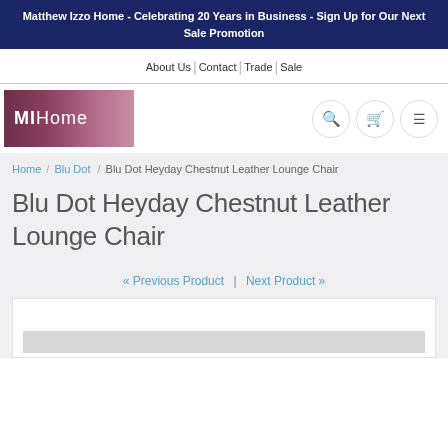Matthew Izzo Home - Celebrating 20 Years in Business - Sign Up for Our Next Sale Promotion
About Us | Contact | Trade | Sale
[Figure (logo): MIHome logo with pink-purple gradient background and white text]
Breadcrumb: Home / Blu Dot / Blu Dot Heyday Chestnut Leather Lounge Chair
Blu Dot Heyday Chestnut Leather Lounge Chair
« Previous Product | Next Product »
[Figure (photo): Product image area - partially visible at bottom of page]